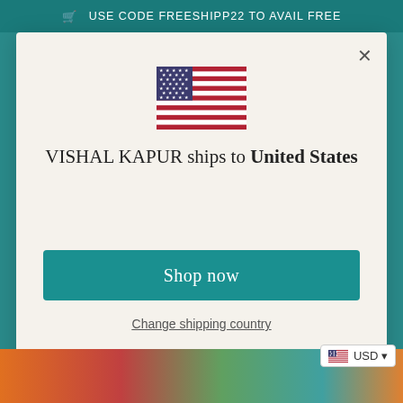USE CODE FREESHIPP22 TO AVAIL FREE
[Figure (illustration): US flag icon displayed in the modal dialog]
VISHAL KAPUR ships to United States
Shop in INR ₹
Get shipping options for United States
Shop now
Change shipping country
USD